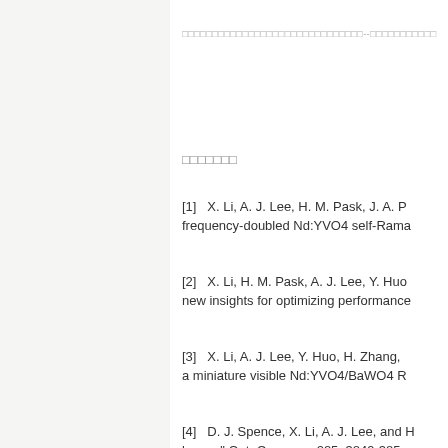□□□□□□□□□□□□□□□□□□□□□□□□□□□□□□--□□□□□□□□□□□
□□□□□□□
[1]   X. Li, A. J. Lee, H. M. Pask, J. A. P... frequency-doubled Nd:YVO4 self-Rama...
[2]   X. Li, H. M. Pask, A. J. Lee, Y. Huo... new insights for optimizing performance...
[3]   X. Li, A. J. Lee, Y. Huo, H. Zhang,... a miniature visible Nd:YVO4/BaWO4 R...
[4]   D. J. Spence, X. Li, A. J. Lee, and H... lasers," Opt. Commun. 285, 3849-385...